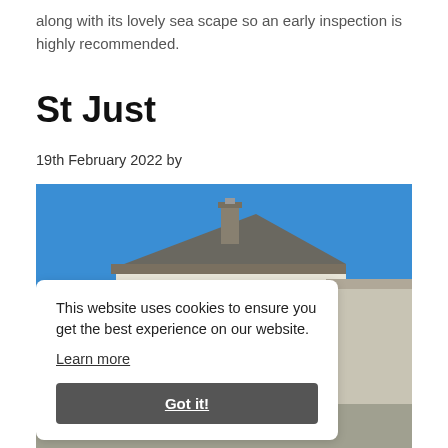along with its lovely sea scape so an early inspection is highly recommended.
St Just
19th February 2022 by
[Figure (photo): Exterior photo of a cream/white two-storey house with dark slate roof and brown window frames, under a clear blue sky. A cookie consent banner overlays the lower portion of the image.]